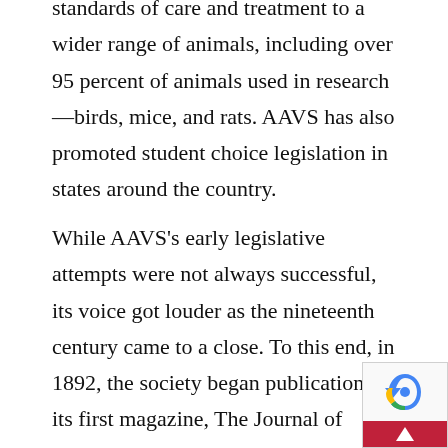standards of care and treatment to a wider range of animals, including over 95 percent of animals used in research—birds, mice, and rats. AAVS has also promoted student choice legislation in states around the country.
While AAVS's early legislative attempts were not always successful, its voice got louder as the nineteenth century came to a close. To this end, in 1892, the society began publication of its first magazine, The Journal of Zoophily—printed in conjunction with the Women's Branch of PSPCA. With education as its mission, Zoophily included news on vivisection and animal welfare issues, encouraged